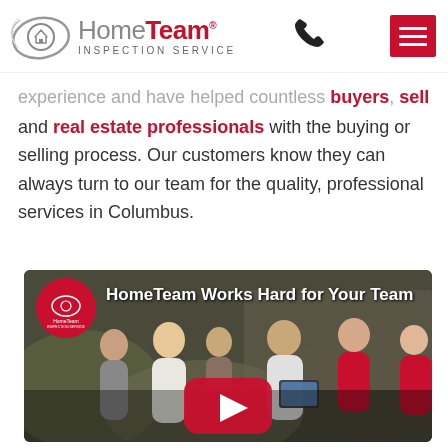HomeTeam Inspection Service
experience and have helped countless buyers, sellers, and real estate professionals with the buying or selling process. Our customers know they can always turn to our team for the quality, professional services in Columbus.
[Figure (screenshot): YouTube video thumbnail showing a group of people (HomeTeam inspectors and clients) looking at a tablet, with the title 'HomeTeam Works Hard for Your Team' and a YouTube play button overlay.]